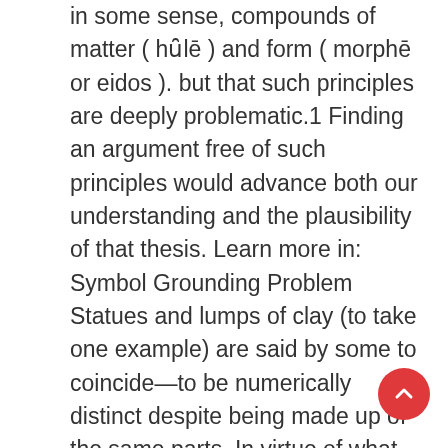in some sense, compounds of matter ( hȗlē ) and form ( morphē or eidos ). but that such principles are deeply problematic.1 Finding an argument free of such principles would advance both our understanding and the plausibility of that thesis. Learn more in: Symbol Grounding Problem Statues and lumps of clay (to take one example) are said by some to coincide—to be numerically distinct despite being made up of the same parts. In virtue of what is it that the lump of clay, but not the statue, can survive being smashed? Mixed agreement arises if the “polite plural” or other pronominal controller is underspecified for Concord phi features. A diachronic explanation is offered for this bifurcation of